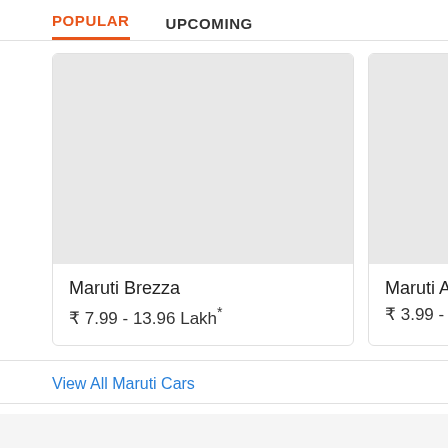POPULAR   UPCOMING
[Figure (photo): Placeholder image for Maruti Brezza car (light gray rectangle)]
Maruti Brezza
₹ 7.99 - 13.96 Lakh*
[Figure (photo): Placeholder image for Maruti Alto K10 car (light gray rectangle, partially visible)]
Maruti Alto K10
₹ 3.99 - 5.83 L
View All Maruti Cars